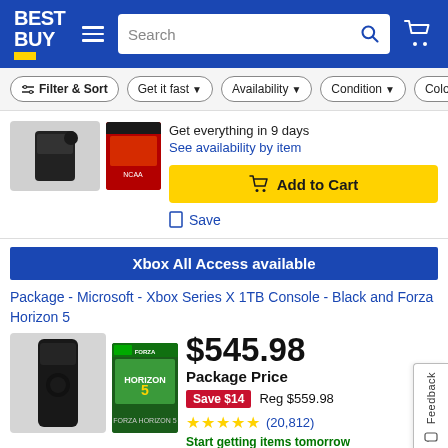Best Buy - Search bar - Cart
Filter & Sort | Get it fast | Availability | Condition | Color
[Figure (photo): Xbox console and controller with game case]
Get everything in 9 days
See availability by item
Add to Cart
Save
Xbox All Access available
Package - Microsoft - Xbox Series X 1TB Console - Black and Forza Horizon 5
$545.98
Package Price
Save $14  Reg $559.98
(20,812)
Start getting items tomorrow
[Figure (photo): Xbox Series X console and Forza Horizon 5 game case]